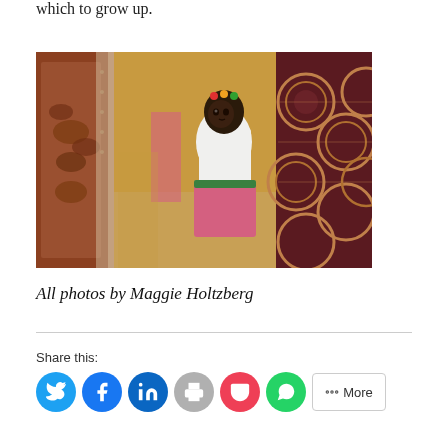which to grow up.
[Figure (photo): A young girl in a white top and pink skirt stands among adults wearing traditional African clothing with elaborate patterns and embroidery.]
All photos by Maggie Holtzberg
Share this: